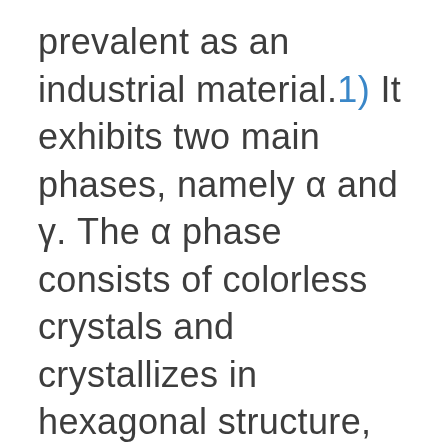prevalent as an industrial material.1) It exhibits two main phases, namely α and γ. The α phase consists of colorless crystals and crystallizes in hexagonal structure, whereas the γ phase is composed of very tiny colourless crystals that exhibit cubic structure and a specific weight of 3.6 g/cm³.